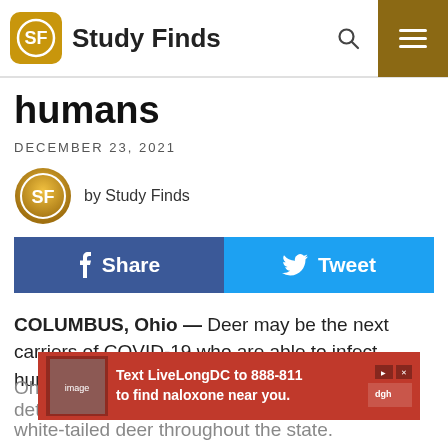Study Finds
humans
DECEMBER 23, 2021
by Study Finds
[Figure (screenshot): Facebook Share button and Twitter Tweet button side by side]
COLUMBUS, Ohio — Deer may be the next carriers of COVID-19 who are able to infect humans, a new study warns. Scientists at The Ohio S[tate University]... detected... in wild white-tailed deer throughout the state.
[Figure (screenshot): Advertisement banner: Text LiveLongDC to 888-811 to find naloxone near you.]